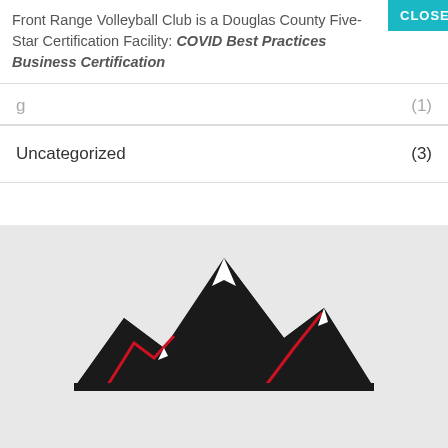Front Range Volleyball Club is a Douglas County Five-Star Certification Facility: COVID Best Practices Business Certification
(1)
Uncategorized (3)
[Figure (logo): Front Range Volleyball Club mountain logo — black mountain silhouette with red accent lines and white snow cap highlights on a light gray background]